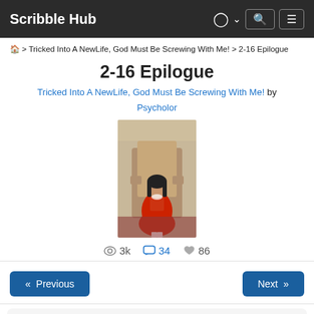Scribble Hub
🏠 > Tricked Into A NewLife, God Must Be Screwing With Me! > 2-16 Epilogue
2-16 Epilogue
Tricked Into A NewLife, God Must Be Screwing With Me! by Psycholor
[Figure (photo): Cover image showing a girl in a red dress seated on a throne-like chair]
👁 3k  💬 34  ♥ 86
« Previous    Next »
Psycholor